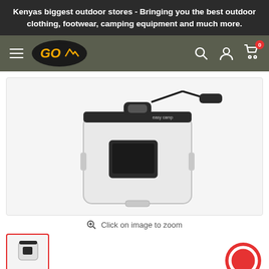Kenyas biggest outdoor stores - Bringing you the best outdoor clothing, footwear, camping equipment and much more.
[Figure (logo): GO outdoors logo - oval black background with gold italic GO text and mountain icon]
[Figure (photo): Waterproof phone case/dry bag with clear plastic body, black top closure with clip, lanyard, containing a smartphone]
Click on image to zoom
[Figure (photo): Thumbnail of the same waterproof phone case product]